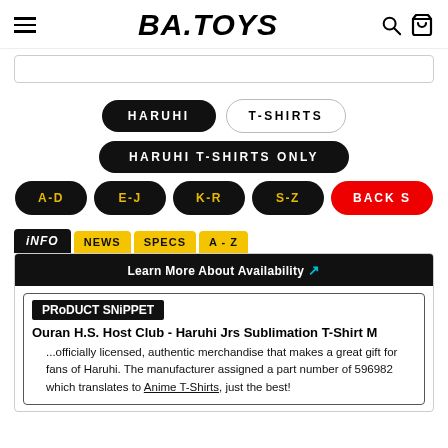BA.TOYS — navigation header with hamburger menu, logo, search and cart icons
Search bar
HARUHI   T-SHIRTS
HARUHI T-SHIRTS ONLY
A-D   E-J   K-R   S-Z   BACK S
iNFO   NEWS   SPECS   A-Z
Learn More About Availability ↗
PRoDUCT SNiPPET
Ouran H.S. Host Club - Haruhi Jrs Sublimation T-Shirt M
...officially licensed, authentic merchandise that makes a great gift for fans of Haruhi. The manufacturer assigned a part number of 596982 which translates to Anime T-Shirts, just the best!